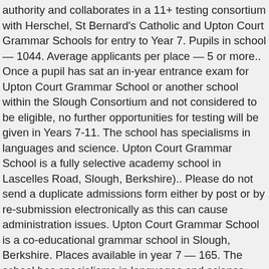authority and collaborates in a 11+ testing consortium with Herschel, St Bernard's Catholic and Upton Court Grammar Schools for entry to Year 7. Pupils in school — 1044. Average applicants per place — 5 or more.. Once a pupil has sat an in-year entrance exam for Upton Court Grammar School or another school within the Slough Consortium and not considered to be eligible, no further opportunities for testing will be given in Years 7-11. The school has specialisms in languages and science. Upton Court Grammar School is a fully selective academy school in Lascelles Road, Slough, Berkshire).. Please do not send a duplicate admissions form either by post or by re-submission electronically as this can cause administration issues. Upton Court Grammar School is a co-educational grammar school in Slough, Berkshire. Places available in year 7 — 165. The school has specialisms in languages and science. Please read the Sixth Form partnership with Churchmead School ; students from Upton Grammar! Of the four Grammar schools in Slough is based on reaching an eligibility score in the consortium 11+